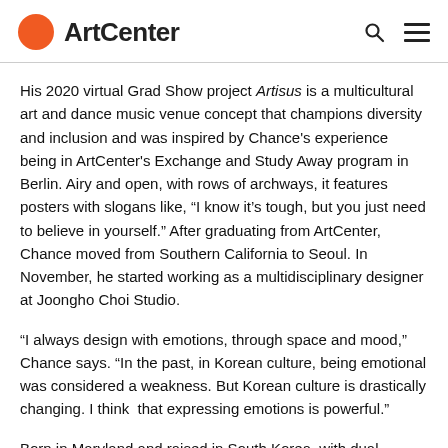ArtCenter
His 2020 virtual Grad Show project Artisus is a multicultural art and dance music venue concept that champions diversity and inclusion and was inspired by Chance's experience being in ArtCenter's Exchange and Study Away program in Berlin. Airy and open, with rows of archways, it features posters with slogans like, “I know it’s tough, but you just need to believe in yourself.” After graduating from ArtCenter, Chance moved from Southern California to Seoul. In November, he started working as a multidisciplinary designer at Joongho Choi Studio.
“I always design with emotions, through space and mood,” Chance says. “In the past, in Korean culture, being emotional was considered a weakness. But Korean culture is drastically changing. I think that expressing emotions is powerful.”
Born in Maryland and raised in South Korea, with dual